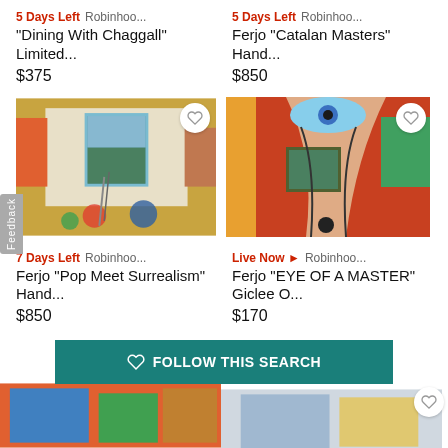5 Days Left  Robinhoo...
"Dining With Chaggall" Limited...
$375
5 Days Left  Robinhoo...
Ferjo "Catalan Masters" Hand...
$850
[Figure (photo): Surrealist painting of an interior room with floating objects, painting on wall showing landscape, colorful spheres on floor]
[Figure (photo): Surrealist painting of a staircase interior gallery with eye imagery, colorful abstract artworks on walls]
7 Days Left  Robinhoo...
Ferjo "Pop Meet Surrealism" Hand...
$850
Live Now ▶  Robinhoo...
Ferjo "EYE OF A MASTER" Giclee O...
$170
♡  FOLLOW THIS SEARCH
[Figure (photo): Partial view of a colorful painting at bottom left]
[Figure (photo): Partial view of a framed painting at bottom right]